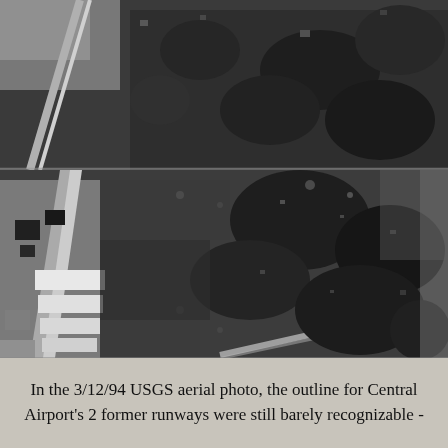[Figure (photo): Black and white USGS aerial photograph dated 3/12/94 showing an overhead view of Central Airport area. The image shows forested areas, what appear to be former runway outlines, a road or railway cutting diagonally through the left side, and some structures/buildings in the lower left portion. The runways are barely visible as lighter linear features through the dark tree canopy.]
In the 3/12/94 USGS aerial photo, the outline for Central Airport's 2 former runways were still barely recognizable -